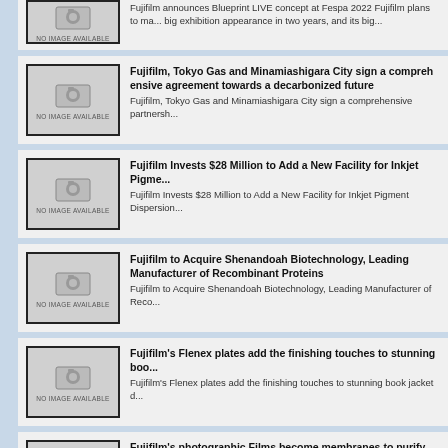Fujifilm announces Blueprint LIVE concept at Fespa 2022 Fujifilm plans to make its big exhibition appearance in two years, and its big...
Fujifilm, Tokyo Gas and Minamiashigara City sign a comprehensive agreement towards a decarbonized future — Fujifilm, Tokyo Gas and Minamiashigara City sign a comprehensive partnership...
Fujifilm Invests $28 Million to Add a New Facility for Inkjet Pigme... — Fujifilm Invests $28 Million to Add a New Facility for Inkjet Pigment Dispersion...
Fujifilm to Acquire Shenandoah Biotechnology, Leading Manufacturer of Recombinant Proteins — Fujifilm to Acquire Shenandoah Biotechnology, Leading Manufacturer of Reco...
Fujifilm's Flenex plates add the finishing touches to stunning boo... — Fujifilm's Flenex plates add the finishing touches to stunning book jacket d...
Fujifilm's photographic Films become membranes to purify water — Fujifilm's photographic Films become membranes to purify water March 14, 2... exchange solution is able to give new uses to already use...
VIEW MOST RECENT HEADLINES